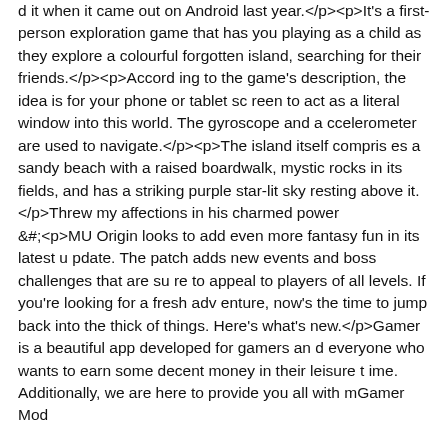d it when it came out on Android last year.</p><p>It's a first-person exploration game that has you playing as a child as they explore a colourful forgotten island, searching for their friends.</p><p>According to the game's description, the idea is for your phone or tablet screen to act as a literal window into this world. The gyroscope and accelerometer are used to navigate.</p><p>The island itself comprises a sandy beach with a raised boardwalk, mystic rocks in its fields, and has a striking purple star-lit sky resting above it.</p>Threw my affections in his charmed power
&#;<p>MU Origin looks to add even more fantasy fun in its latest update. The patch adds new events and boss challenges that are sure to appeal to players of all levels. If you're looking for a fresh adventure, now's the time to jump back into the thick of things. Here's what's new.</p>Gamer is a beautiful app developed for gamers and everyone who wants to earn some decent money in their leisure time. Additionally, we are here to provide you all with mGamer Mod APM which will give you the highest tier earnings on our platform.